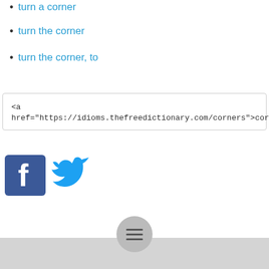turn a corner
turn the corner
turn the corner, to
<a href="https://idioms.thefreedictionary.com/corners">corner</a>
[Figure (logo): Facebook and Twitter social media icons]